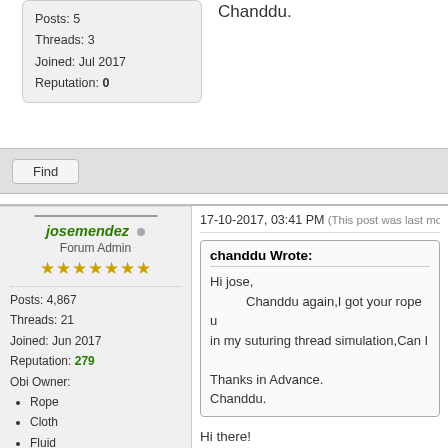Posts: 5
Threads: 3
Joined: Jul 2017
Reputation: 0
Chanddu.
Find
17-10-2017, 03:41 PM (This post was last modified: 17-
chanddu Wrote:
Hi jose,
        Chanddu again,I got your rope u in my suturing thread simulation,Can I

Thanks in Advance.
Chanddu.
josemendez
Forum Admin
Posts: 4,867
Threads: 21
Joined: Jun 2017
Reputation: 279
Obi Owner:
• Rope
• Cloth
• Fluid
Hi there!
3.2 mainly focuses on the collision syste
The solver itself is still iterative and partic